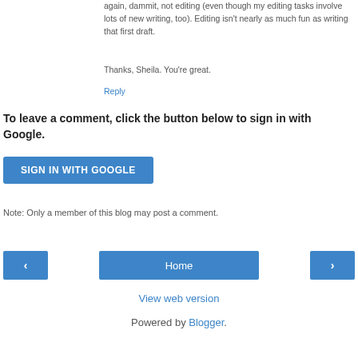again, dammit, not editing (even though my editing tasks involve lots of new writing, too). Editing isn't nearly as much fun as writing that first draft.
Thanks, Sheila. You're great.
Reply
To leave a comment, click the button below to sign in with Google.
[Figure (other): Blue button labeled SIGN IN WITH GOOGLE]
Note: Only a member of this blog may post a comment.
[Figure (other): Navigation row with left arrow button, Home button, and right arrow button]
View web version
Powered by Blogger.